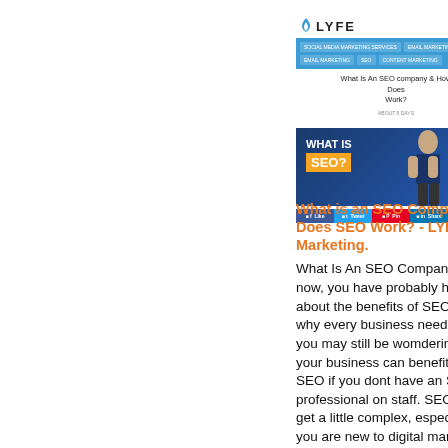[Figure (screenshot): Screenshot of LYFE Marketing website showing navigation menu in blue and article title 'What Is An SEO company & How Does Work?']
[Figure (screenshot): Screenshot of 'WHAT IS SEO?' banner image with dark blue background and orange badge text, person visible on right side, with social share buttons below]
What is an SEO Company & Does SEO Work? - LYFE Marketing.
What Is An SEO Company... now, you have probably heard about the benefits of SEO and why every business needs it. But you may still be wondering how your business can benefit from SEO if you dont have an SEO professional on staff. SEO can get a little complex, especially if you are new to digital marketing. If you are shopping SEO services online, you